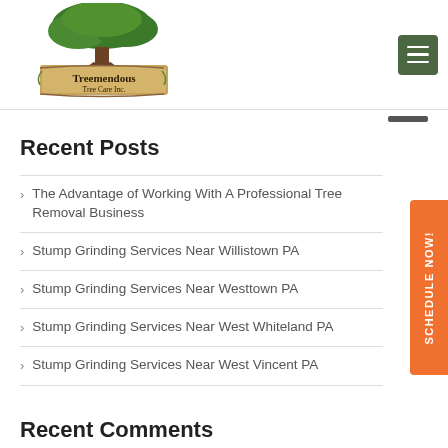[Figure (logo): Treemendous Tree Care Inc. logo with a large oak tree illustration above a wooden sign reading 'Treemendous Tree Care Inc.']
Recent Posts
The Advantage of Working With A Professional Tree Removal Business
Stump Grinding Services Near Willistown PA
Stump Grinding Services Near Westtown PA
Stump Grinding Services Near West Whiteland PA
Stump Grinding Services Near West Vincent PA
Recent Comments